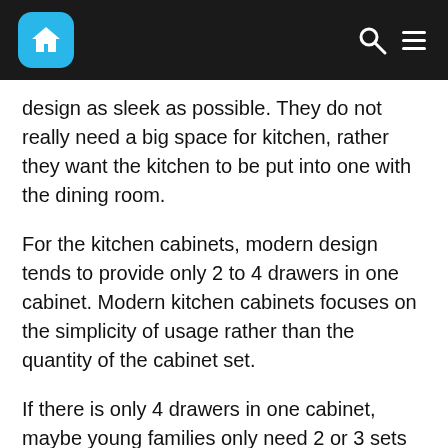[Home icon] [Search icon] [Menu icon]
design as sleek as possible. They do not really need a big space for kitchen, rather they want the kitchen to be put into one with the dining room.
For the kitchen cabinets, modern design tends to provide only 2 to 4 drawers in one cabinet. Modern kitchen cabinets focuses on the simplicity of usage rather than the quantity of the cabinet set.
If there is only 4 drawers in one cabinet, maybe young families only need 2 or 3 sets of cabinet. Furthermore, as the advanced of technology, with one equipment, people